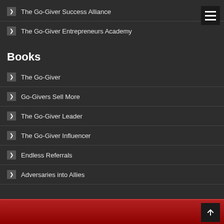The Go-Giver Success Alliance
The Go-Giver Entrepreneurs Academy
Books
The Go-Giver
Go-Givers Sell More
The Go-Giver Leader
The Go-Giver Influencer
Endless Referrals
Adversaries into Allies
[Figure (other): Red gradient footer banner with scroll-to-top button]